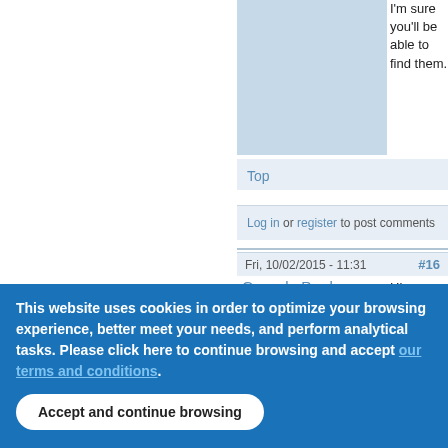[Figure (photo): Light blue placeholder image area (partial, top of page)]
I'm sure you'll be able to find them.
Top
Log in or register to post comments
Fri, 10/02/2015 - 11:31 #16
Gerardo Pardo
[Figure (photo): Headshot photo of Gerardo Pardo]
Hi,
@JayB. This
This website uses cookies in order to optimize your browsing experience, better meet your needs, and perform analytical tasks. Please click here to continue browsing and accept .
Accept and continue browsing